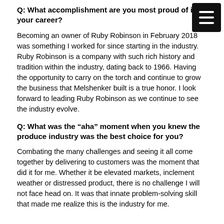Q: What accomplishment are you most proud of in your career?
Becoming an owner of Ruby Robinson in February 2018 was something I worked for since starting in the industry. Ruby Robinson is a company with such rich history and tradition within the industry, dating back to 1966. Having the opportunity to carry on the torch and continue to grow the business that Melshenker built is a true honor. I look forward to leading Ruby Robinson as we continue to see the industry evolve.
Q: What was the “aha” moment when you knew the produce industry was the best choice for you?
Combating the many challenges and seeing it all come together by delivering to customers was the moment that did it for me. Whether it be elevated markets, inclement weather or distressed product, there is no challenge I will not face head on. It was that innate problem-solving skill that made me realize this is the industry for me.